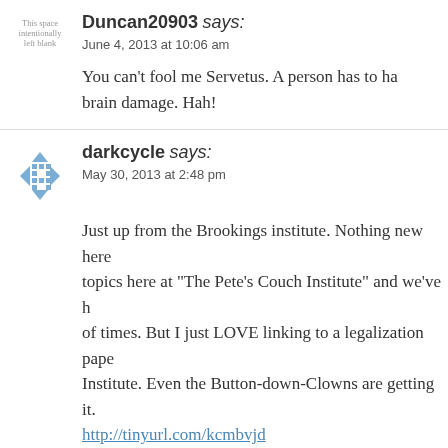Duncan20903 says: June 4, 2013 at 10:06 am
You can't fool me Servetus. A person has to ha... brain damage. Hah!
darkcycle says: May 30, 2013 at 2:48 pm
Just up from the Brookings institute. Nothing new here... topics here at "The Pete's Couch Institute" and we've h... of times. But I just LOVE linking to a legalization pape... Institute. Even the Button-down-Clowns are getting it.
http://tinyurl.com/kcmbvjd
allan says: